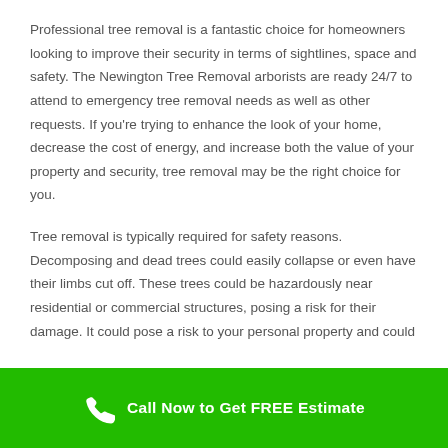Professional tree removal is a fantastic choice for homeowners looking to improve their security in terms of sightlines, space and safety. The Newington Tree Removal arborists are ready 24/7 to attend to emergency tree removal needs as well as other requests. If you're trying to enhance the look of your home, decrease the cost of energy, and increase both the value of your property and security, tree removal may be the right choice for you.
Tree removal is typically required for safety reasons. Decomposing and dead trees could easily collapse or even have their limbs cut off. These trees could be hazardously near residential or commercial structures, posing a risk for their damage. It could pose a risk to your personal property and could
Call Now to Get FREE Estimate